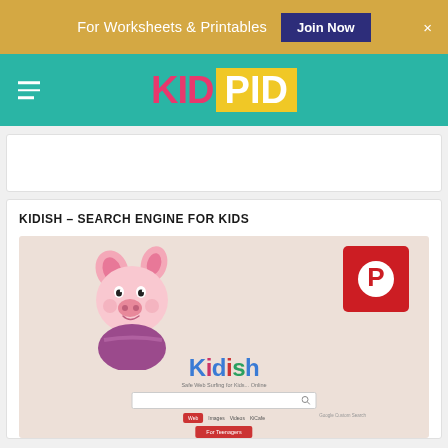For Worksheets & Printables  Join Now  ×
[Figure (logo): KidPid website logo with hamburger menu on teal navbar]
KIDISH – SEARCH ENGINE FOR KIDS
[Figure (screenshot): Screenshot of Kidish search engine website showing Piglet character, colorful Kidish logo, search bar, navigation links (Web, Images, Videos, KiCafe), and For Teenagers button, with Pinterest share button overlay]